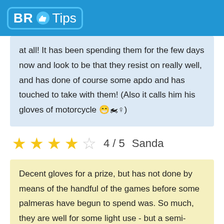BR Tips
at all! It has been spending them for the few days now and look to be that they resist on really well, and has done of course some apdo and has touched to take with them! (Also it calls him his gloves of motorcycle 😁🏍♀)
4 / 5  Sanda
Decent gloves for a prize, but has not done by means of the handful of the games before some palmeras have begun to spend was. So much, they are well for some light use - but a semi-